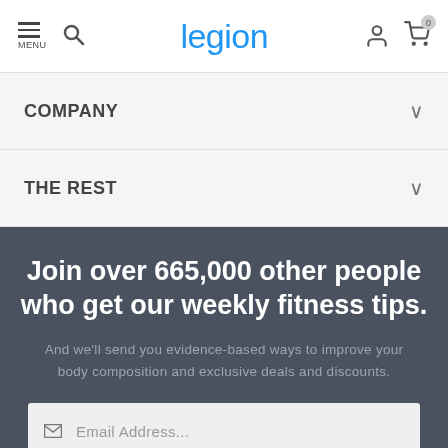legion — navigation header with menu, search, user, and cart icons
COMPANY
THE REST
Join over 665,000 other people who get our weekly fitness tips.
And we'll send you evidence-based ways to improve your body composition and exclusive deals and discounts.
Email Address...